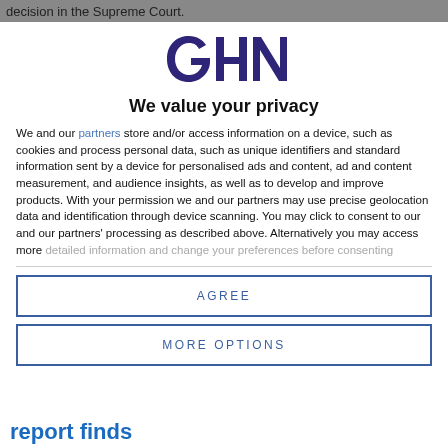decision in the Supreme Court.
[Figure (logo): GSN logo in dark navy/purple color]
We value your privacy
We and our partners store and/or access information on a device, such as cookies and process personal data, such as unique identifiers and standard information sent by a device for personalised ads and content, ad and content measurement, and audience insights, as well as to develop and improve products. With your permission we and our partners may use precise geolocation data and identification through device scanning. You may click to consent to our and our partners' processing as described above. Alternatively you may access more detailed information and change your preferences before consenting
AGREE
MORE OPTIONS
report finds